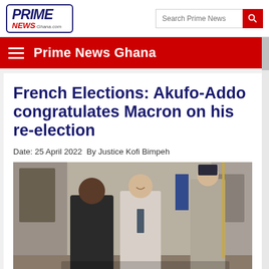[Figure (logo): Prime News Ghana logo — italic bold blue PRIME, red NEWS, gray Ghana.com text, in a rounded rectangle border]
Prime News Ghana
French Elections: Akufo-Addo congratulates Macron on his re-election
Date: 25 April 2022  By Justice Kofi Bimpeh
[Figure (photo): Photo of two men in suits (Akufo-Addo and Macron) shaking hands or greeting at what appears to be the Élysée Palace entrance, with a uniformed guard holding a spear-topped staff on the right and a blue flag visible behind them.]